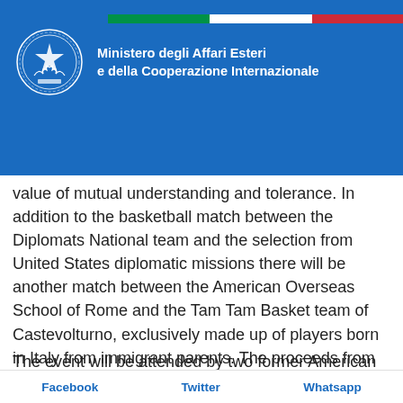[Figure (logo): Italian Republic emblem logo (white eagle/wreath on blue background) with Italian flag stripe and text: Ministero degli Affari Esteri e della Cooperazione Internazionale]
value of mutual understanding and tolerance. In addition to the basketball match between the Diplomats National team and the selection from United States diplomatic missions there will be another match between the American Overseas School of Rome and the Tam Tam Basket team of Castevolturno, exclusively made up of players born in Italy from immigrant parents. The proceeds from the charitable donations of the players and the public at the match will be devolved to the Tam Tam Basket team.
The event will be attended by two former American basketball
Facebook    Twitter    Whatsapp